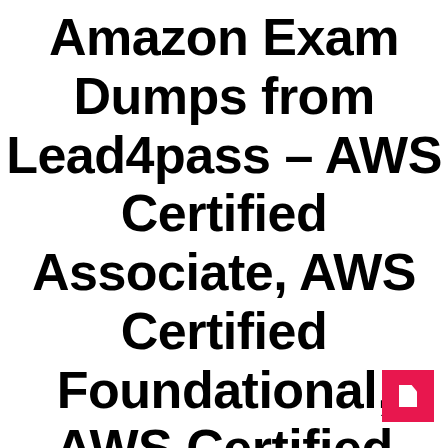Amazon Exam Dumps from Lead4pass – AWS Certified Associate, AWS Certified Foundational, AWS Certified Professional, AWS